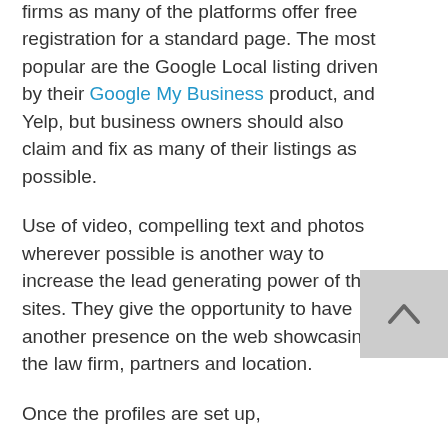returns on time and money invested for law firms as many of the platforms offer free registration for a standard page. The most popular are the Google Local listing driven by their Google My Business product, and Yelp, but business owners should also claim and fix as many of their listings as possible.
Use of video, compelling text and photos wherever possible is another way to increase the lead generating power of these sites. They give the opportunity to have another presence on the web showcasing the law firm, partners and location.
Once the profiles are set up,
[Figure (other): Back to top button - grey square with upward pointing chevron arrow icon]